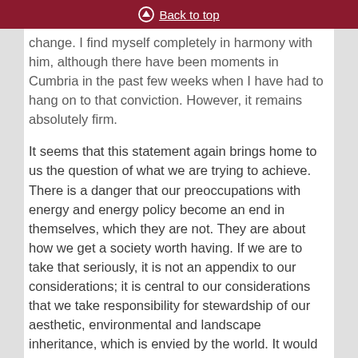Back to top
change. I find myself completely in harmony with him, although there have been moments in Cumbria in the past few weeks when I have had to hang on to that conviction. However, it remains absolutely firm.
It seems that this statement again brings home to us the question of what we are trying to achieve. There is a danger that our preoccupations with energy and energy policy become an end in themselves, which they are not. They are about how we get a society worth having. If we are to take that seriously, it is not an appendix to our considerations; it is central to our considerations that we take responsibility for stewardship of our aesthetic, environmental and landscape inheritance, which is envied by the world. It would be easy, under the